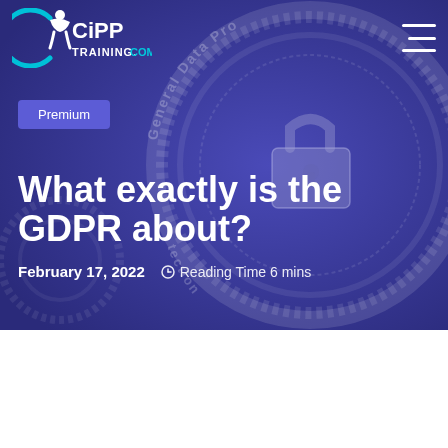[Figure (logo): CiPP Training.com logo with stylized figure and circular C shape in white and teal on dark purple/blue background]
[Figure (illustration): Background hero image showing a GDPR padlock and circular text reading 'General Data Protection' on dark indigo/purple background]
Premium
What exactly is the GDPR about?
February 17, 2022   Reading Time 6 mins